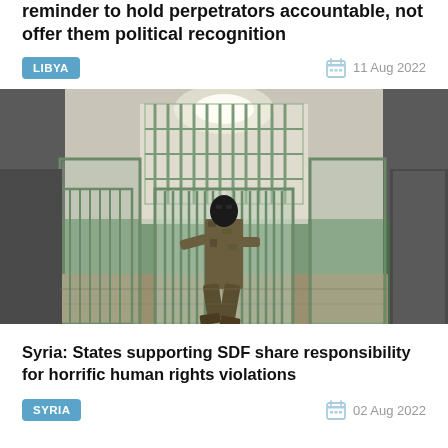reminder to hold perpetrators accountable, not offer them political recognition
LIBYA
11 Aug 2022
[Figure (photo): A masked soldier in camouflage uniform walks through a prison corridor with green metal bars and gates. The facility has green-painted lower walls and fluorescent lighting overhead.]
Syria: States supporting SDF share responsibility for horrific human rights violations
SYRIA
02 Aug 2022